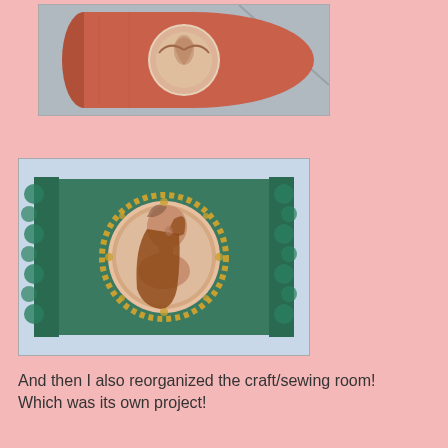[Figure (photo): A rolled/cylindrical fabric item in orange/terracotta color with a decorative circular embroidered or printed design featuring a floral or bird motif on a light background, placed on a gray surface.]
[Figure (photo): A teal/green fabric cushion or bag decorated with sequins and decorative trim on the sides, featuring a large circular cameo-style embroidered or printed design of a woman's profile with long auburn hair in an Art Nouveau style, placed on a light blue surface.]
And then I also reorganized the craft/sewing room! Which was its own project!